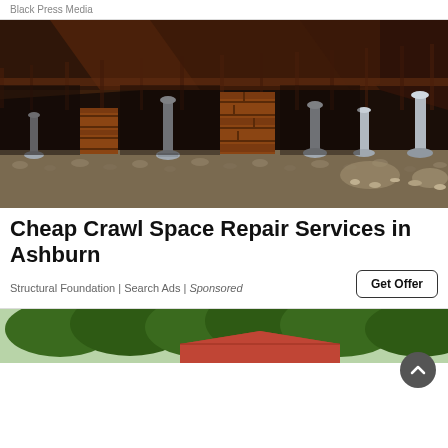Black Press Media
[Figure (photo): Interior crawl space under a house showing wooden beams on ceiling, brick and metal support columns, gravel and dirt floor]
Cheap Crawl Space Repair Services in Ashburn
Structural Foundation | Search Ads | Sponsored
[Figure (photo): Partial view of a house exterior with trees in the background, showing rooftop and foliage]